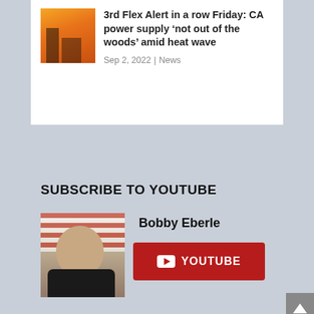3rd Flex Alert in a row Friday: CA power supply ‘not out of the woods’ amid heat wave
Sep 2, 2022 | News
SUBSCRIBE TO YOUTUBE
[Figure (photo): Headshot of Bobby Eberle in front of American flag]
Bobby Eberle
[Figure (logo): YouTube subscribe button (red) with YouTube play icon and text YOUTUBE]
[Figure (logo): GOPUSA eagle logo with red eagle silhouette and GOPUSA text in red]